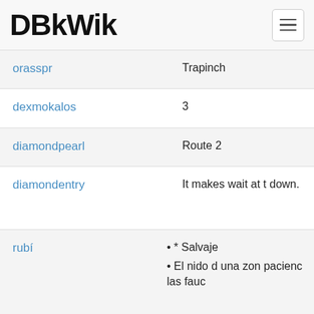DBkWik
orasspr • Trapinch
dexmokalos • 3
diamondpearl • Route 2
diamondentry • It makes wait at t down.
rubí • * Salvaje • El nido d una zon pacienc las fauc
sapphirelocate • Route 1